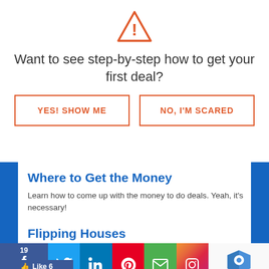[Figure (illustration): Orange warning triangle icon with exclamation mark]
Want to see step-by-step how to get your first deal?
YES! SHOW ME
NO, I'M SCARED
Where to Get the Money
Learn how to come up with the money to do deals. Yeah, it's necessary!
Flipping Houses
[Figure (other): Social media sharing bar with Facebook (19 shares, Like 6), Twitter, LinkedIn, Pinterest, Email, Instagram icons, and reCAPTCHA logo with Privacy - Terms text]